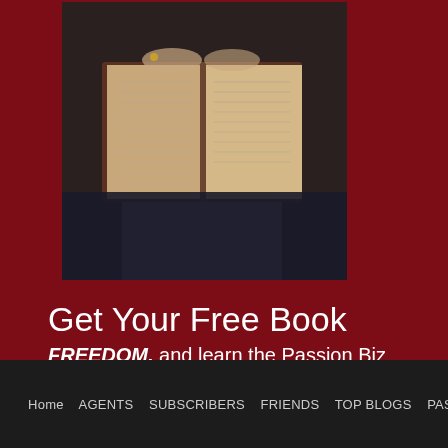[Figure (photo): Person reading or holding an open book, viewed from above, dark clothing visible]
[Figure (photo): Group of people in business attire, partially visible on right edge, appears to show celebration or success]
Get Your Free Book
FREEDOM, and learn the Passion Biz philosophy.  Click the link below
Freedom
Join Succ
The Success improvement the best you c
Learn More
Home   AGENTS   SUBSCRIBERS   FRIENDS   TOP BLOGS   PASSION BIZ   S